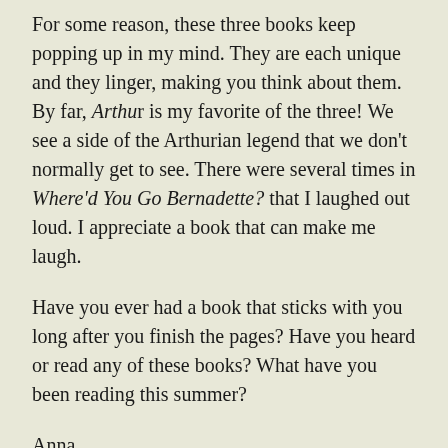For some reason, these three books keep popping up in my mind. They are each unique and they linger, making you think about them. By far, Arthur is my favorite of the three! We see a side of the Arthurian legend that we don't normally get to see. There were several times in Where'd You Go Bernadette? that I laughed out loud. I appreciate a book that can make me laugh.
Have you ever had a book that sticks with you long after you finish the pages? Have you heard or read any of these books? What have you been reading this summer?
Anna